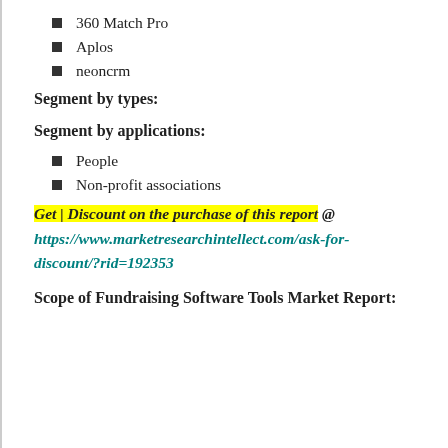360 Match Pro
Aplos
neoncrm
Segment by types:
Segment by applications:
People
Non-profit associations
Get | Discount on the purchase of this report @ https://www.marketresearchintellect.com/ask-for-discount/?rid=192353
Scope of Fundraising Software Tools Market Report: